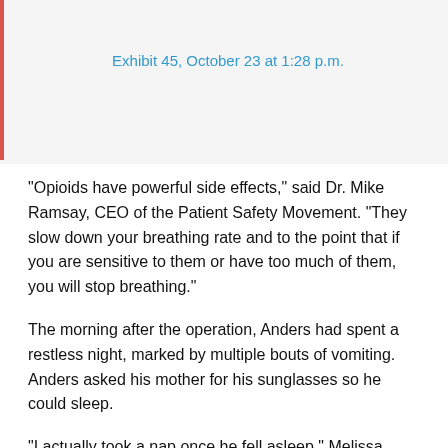Exhibit 45, October 23 at 1:28 p.m.
“Opioids have powerful side effects,” said Dr. Mike Ramsay, CEO of the Patient Safety Movement. “They slow down your breathing rate and to the point that if you are sensitive to them or have too much of them, you will stop breathing.”
The morning after the operation, Anders had spent a restless night, marked by multiple bouts of vomiting. Anders asked his mother for his sunglasses so he could sleep.
“I actually took a nap once he fell asleep,” Melissa said, as